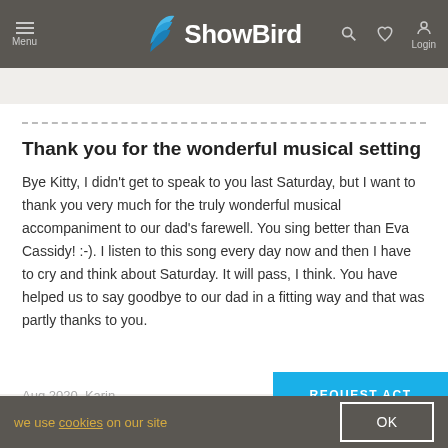Menu | ShowBird | Login
Lowest price guarantee    Covid arrangement
Thank you for the wonderful musical setting
Bye Kitty, I didn't get to speak to you last Saturday, but I want to thank you very much for the truly wonderful musical accompaniment to our dad's farewell. You sing better than Eva Cassidy! :-). I listen to this song every day now and then I have to cry and think about Saturday. It will pass, I think. You have helped us to say goodbye to our dad in a fitting way and that was partly thanks to you.
Aug 2020, Karin
we use cookies on our site